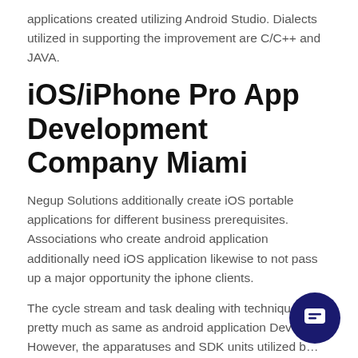applications created utilizing Android Studio. Dialects utilized in supporting the improvement are C/C++ and JAVA.
iOS/iPhone Pro App Development Company Miami
Negup Solutions additionally create iOS portable applications for different business prerequisites. Associations who create android application additionally need iOS application likewise to not pass up a major opportunity the iphone clients.
The cycle stream and task dealing with technique are pretty much as same as android application Develo… However, the apparatuses and SDK units utilized b… developed recognizes from android.
[Figure (other): Dark navy blue circular chat/message button in bottom right corner]